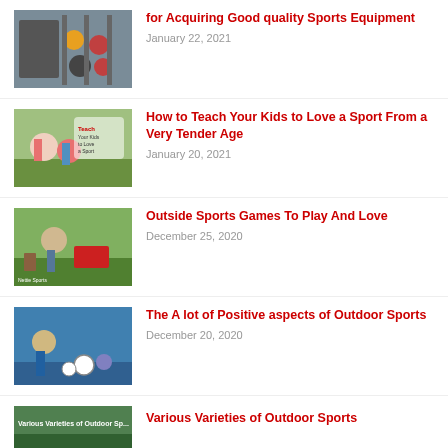[Figure (photo): Sports equipment on a rack including balls]
for Acquiring Good quality Sports Equipment
January 22, 2021
[Figure (photo): Children doing sports outdoors with text overlay about teaching kids a sport]
How to Teach Your Kids to Love a Sport From a Very Tender Age
January 20, 2021
[Figure (photo): People playing outdoor sports games on grass]
Outside Sports Games To Play And Love
December 25, 2020
[Figure (photo): Soccer player with ball outdoors]
The A lot of Positive aspects of Outdoor Sports
December 20, 2020
[Figure (photo): Various varieties of outdoor sports image with text]
Various Varieties of Outdoor Sports